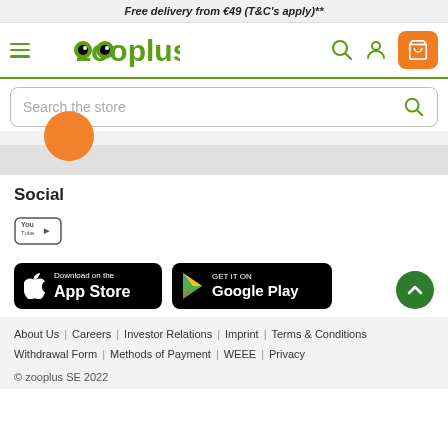Free delivery from €49 (T&C's apply)**
[Figure (logo): zooplus logo with green text and two eye icons]
Search the store
Social
[Figure (logo): YouTube icon]
[Figure (logo): Download on the App Store button]
[Figure (logo): Get it on Google Play button]
About Us  Careers  Investor Relations  Imprint  Terms & Conditions  Withdrawal Form  Methods of Payment  WEEE  Privacy
© zooplus SE 2022